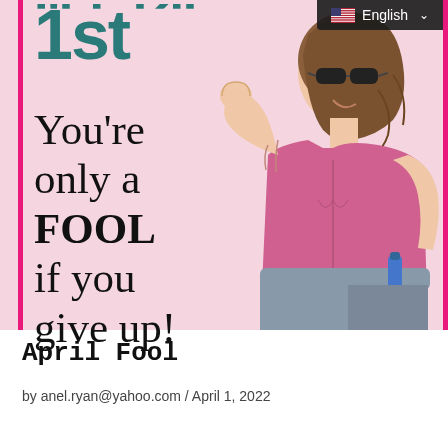[Figure (illustration): Motivational fitness illustration with pink background showing a woman in a pink tank top flexing her arm, wearing sunglasses. Large teal text reads '1st' at top. Black serif text reads 'You're only a FOOL if you give up!' Pink vertical borders on left and right. English language selector bar at top right.]
April Fool
by anel.ryan@yahoo.com / April 1, 2022